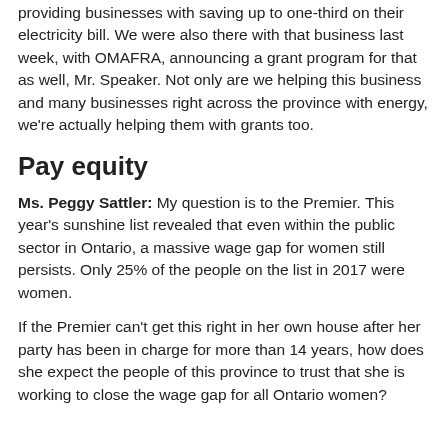providing businesses with saving up to one-third on their electricity bill. We were also there with that business last week, with OMAFRA, announcing a grant program for that as well, Mr. Speaker. Not only are we helping this business and many businesses right across the province with energy, we're actually helping them with grants too.
Pay equity
Ms. Peggy Sattler: My question is to the Premier. This year's sunshine list revealed that even within the public sector in Ontario, a massive wage gap for women still persists. Only 25% of the people on the list in 2017 were women.
If the Premier can't get this right in her own house after her party has been in charge for more than 14 years, how does she expect the people of this province to trust that she is working to close the wage gap for all Ontario women?